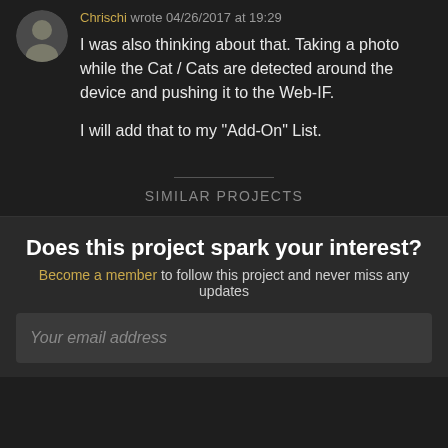Chrischi wrote 04/26/2017 at 19:29
I was also thinking about that. Taking a photo while the Cat / Cats are detected around the device and pushing it to the Web-IF.

I will add that to my "Add-On" List.
SIMILAR PROJECTS
Does this project spark your interest?
Become a member to follow this project and never miss any updates
Your email address